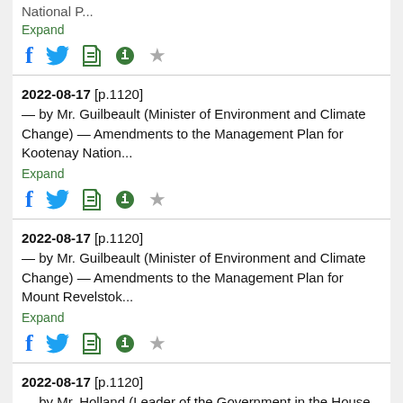National P...
Expand
2022-08-17 [p.1120] — by Mr. Guilbeault (Minister of Environment and Climate Change) — Amendments to the Management Plan for Kootenay Nation...
Expand
2022-08-17 [p.1120] — by Mr. Guilbeault (Minister of Environment and Climate Change) — Amendments to the Management Plan for Mount Revelstok...
Expand
2022-08-17 [p.1120] — by Mr. Holland (Leader of the Government in the House of Commons) — Government responses, pursuant to Standing Order 3...
Expand